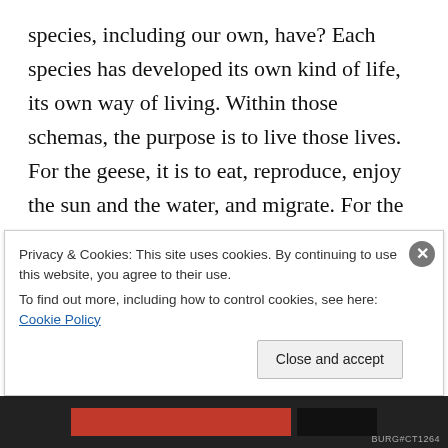species, including our own, have? Each species has developed its own kind of life, its own way of living. Within those schemas, the purpose is to live those lives. For the geese, it is to eat, reproduce, enjoy the sun and the water, and migrate. For the bacteria basking in the sulfuric gases of volcanic vents, it is simply to thrive there. For trees, it is to grow toward the sun and generate seeds to perpetuate more trees. For humans, it is to love, to learn, to create, to work,
Privacy & Cookies: This site uses cookies. By continuing to use this website, you agree to their use.
To find out more, including how to control cookies, see here: Cookie Policy
Close and accept